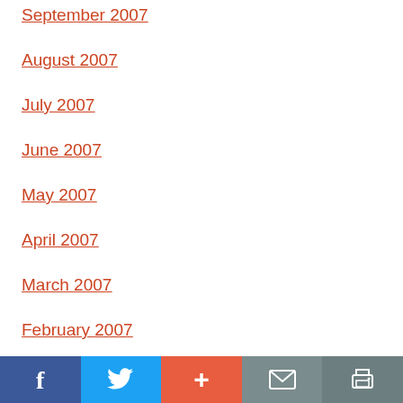September 2007
August 2007
July 2007
June 2007
May 2007
April 2007
March 2007
February 2007
January 2007
Social sharing bar: Facebook, Twitter, Plus, Mail, Print